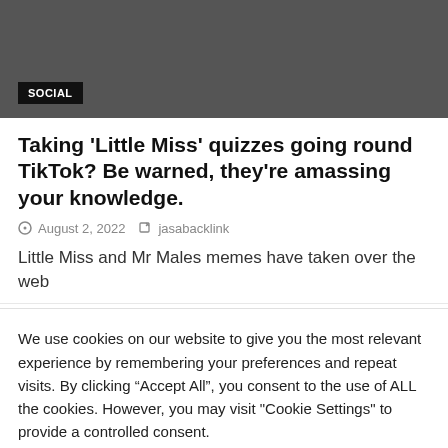[Figure (photo): Dark gray banner image area with SOCIAL badge label at the bottom left]
Taking 'Little Miss' quizzes going round TikTok? Be warned, they're amassing your knowledge.
August 2, 2022   jasabacklink
Little Miss and Mr Males memes have taken over the web
We use cookies on our website to give you the most relevant experience by remembering your preferences and repeat visits. By clicking “Accept All”, you consent to the use of ALL the cookies. However, you may visit "Cookie Settings" to provide a controlled consent.
Cookie Settings   Accept All